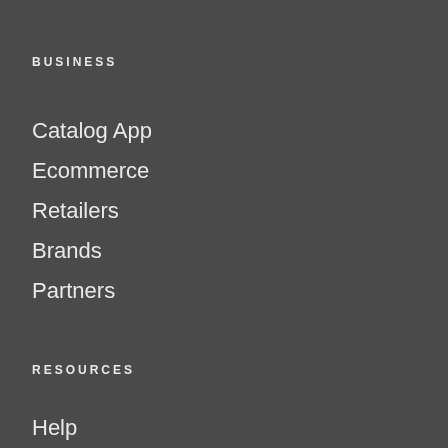BUSINESS
Catalog App
Ecommerce
Retailers
Brands
Partners
RESOURCES
Help